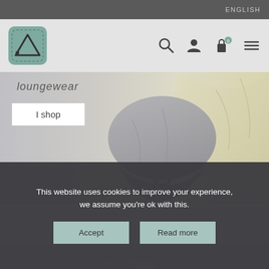ENGLISH
[Figure (logo): Brand logo: square with rounded corners in teal/sage color, containing a triangle/pennant icon with a dot]
[Figure (infographic): Navigation icons: search magnifier, user/account person icon, shopping bag/lock with badge '0', hamburger menu icon]
[Figure (photo): Hero banner showing loungewear clothing items - grey drawstring shorts/pants and a yellow/cream fabric item on a light background]
loungewear
I shop
[Figure (photo): Second section image showing a light grey/white background with soft fabric items partially visible]
This website uses cookies to improve your experience, we assume you're ok with this.
Accept
Read more